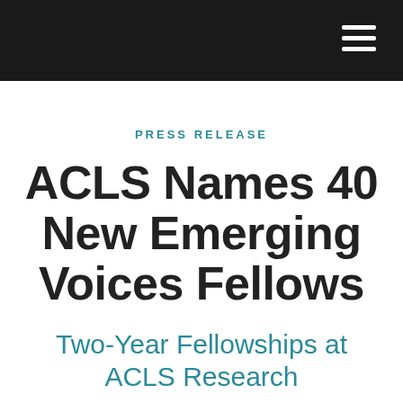PRESS RELEASE
ACLS Names 40 New Emerging Voices Fellows
Two-Year Fellowships at ACLS Research